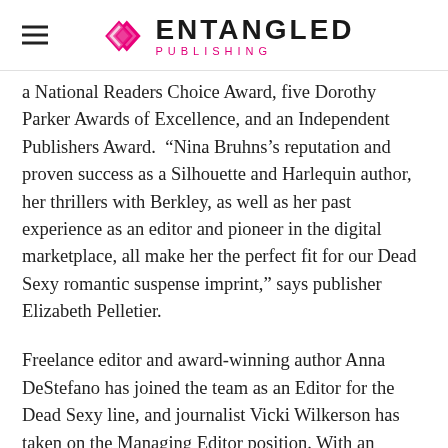ENTANGLED PUBLISHING
a National Readers Choice Award, five Dorothy Parker Awards of Excellence, and an Independent Publishers Award. “Nina Bruhns’s reputation and proven success as a Silhouette and Harlequin author, her thrillers with Berkley, as well as her past experience as an editor and pioneer in the digital marketplace, all make her the perfect fit for our Dead Sexy romantic suspense imprint,” says publisher Elizabeth Pelletier.
Freelance editor and award-winning author Anna DeStefano has joined the team as an Editor for the Dead Sexy line, and journalist Vicki Wilkerson has taken on the Managing Editor position. With an unbeatable royalty structure for authors and the option of mass international distribution through Perseus Distribution for digital...